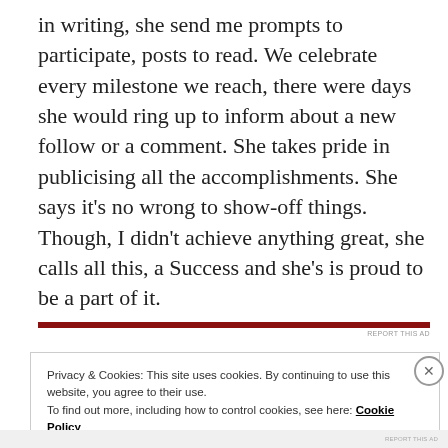in writing, she send me prompts to participate, posts to read. We celebrate every milestone we reach, there were days she would ring up to inform about a new follow or a comment. She takes pride in publicising all the accomplishments. She says it's no wrong to show-off things. Though, I didn't achieve anything great, she calls all this, a Success and she's is proud to be a part of it.
REPORT THIS AD
Privacy & Cookies: This site uses cookies. By continuing to use this website, you agree to their use. To find out more, including how to control cookies, see here: Cookie Policy